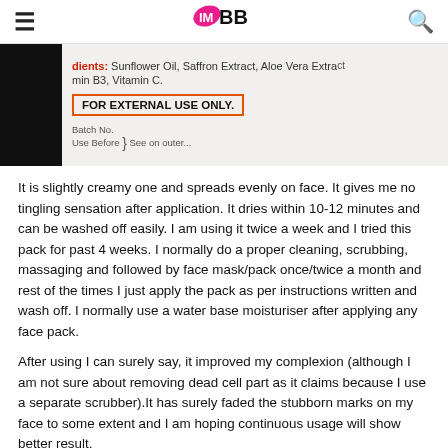IMBB
[Figure (photo): Close-up photo of a product label showing ingredients: Sunflower Oil, Saffron Extract, Aloe Vera Extract, Vitamin B3, Vitamin C. A red-bordered box reads FOR EXTERNAL USE ONLY.]
It is slightly creamy one and spreads evenly on face. It gives me no tingling sensation after application. It dries within 10-12 minutes and can be washed off easily. I am using it twice a week and I tried this pack for past 4 weeks. I normally do a proper cleaning, scrubbing, massaging and followed by face mask/pack once/twice a month and rest of the times I just apply the pack as per instructions written and wash off. I normally use a water base moisturiser after applying any face pack.
After using I can surely say, it improved my complexion (although I am not sure about removing dead cell part as it claims because I use a separate scrubber).It has surely faded the stubborn marks on my face to some extent and I am hoping continuous usage will show better result.